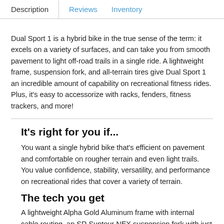Description | Reviews | Inventory
Dual Sport 1 is a hybrid bike in the true sense of the term: it excels on a variety of surfaces, and can take you from smooth pavement to light off-road trails in a single ride. A lightweight frame, suspension fork, and all-terrain tires give Dual Sport 1 an incredible amount of capability on recreational fitness rides. Plus, it's easy to accessorize with racks, fenders, fitness trackers, and more!
It's right for you if...
You want a single hybrid bike that's efficient on pavement and comfortable on rougher terrain and even light trails. You value confidence, stability, versatility, and performance on recreational rides that cover a variety of terrain.
The tech you get
A lightweight Alpha Gold Aluminum frame with internal cable routing, an SR Suntour NEX suspension fork with just enough travel to take the edge off impacts to give giving Si...